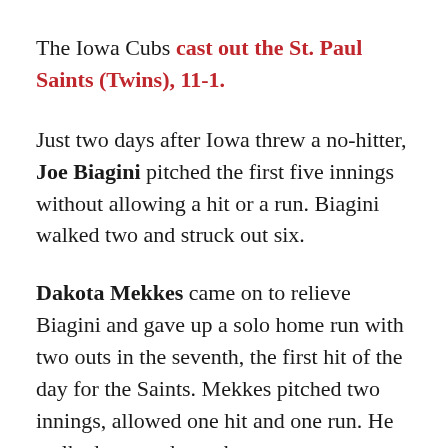The Iowa Cubs cast out the St. Paul Saints (Twins), 11-1.
Just two days after Iowa threw a no-hitter, Joe Biagini pitched the first five innings without allowing a hit or a run. Biagini walked two and struck out six.
Dakota Mekkes came on to relieve Biagini and gave up a solo home run with two outs in the seventh, the first hit of the day for the Saints. Mekkes pitched two innings, allowed one hit and one run. He walked two and struck out one.
Catcher PJ Higgins got the scoring started in the top of the first inning with an RBI single and Iowa never looked back. Higgins had a great game, going 3 for 3 with a double and two walks. He batted in two runs and